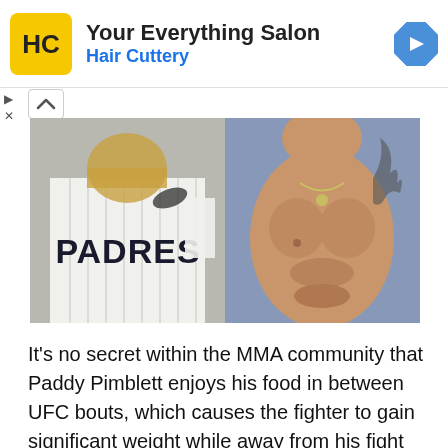[Figure (other): Hair Cuttery advertisement banner with yellow HC logo, text 'Your Everything Salon' and 'Hair Cuttery' in blue, and a blue navigation arrow icon]
[Figure (photo): Two side-by-side photos: left shows a baseball player in a San Diego Padres pinstripe uniform with 'PADRES' text visible, right shows a shirtless muscular man with tattoos and a necklace]
It’s no secret within the MMA community that Paddy Pimblett enjoys his food in between UFC bouts, which causes the fighter to gain significant weight while away from his fight camps. Featherweight champion Alexander Volkanovski recently showed some sympathy towards ‘The Baddy’, stating